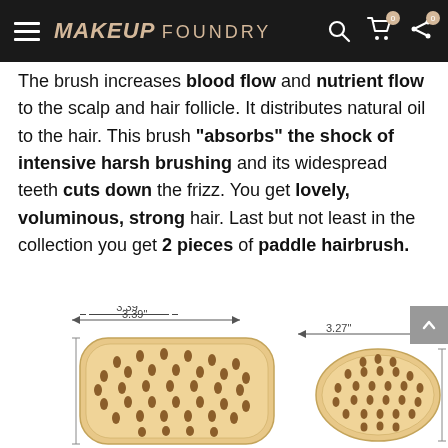MAKEUP FOUNDRY
The brush increases blood flow and nutrient flow to the scalp and hair follicle. It distributes natural oil to the hair. This brush "absorbs" the shock of intensive harsh brushing and its widespread teeth cuts down the frizz. You get lovely, voluminous, strong hair. Last but not least in the collection you get 2 pieces of paddle hairbrush.
[Figure (photo): Two wooden paddle hairbrushes shown from above with bristle pins visible. Left brush labeled 3.39" wide, right brush labeled 3.27" wide. Brushes have light wood bodies with brown/dark bristle pins arranged in rows.]